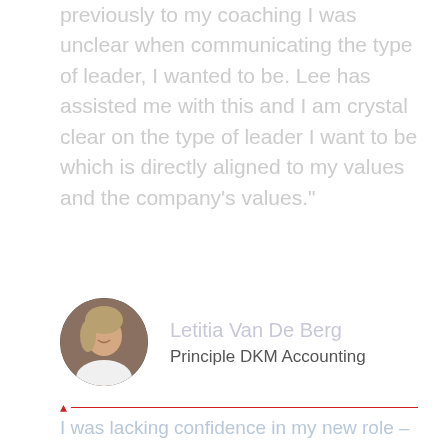previously to my coaching I was unclear when communicating the type of leader, I wanted to be. Lee has assisted me with this and I am crystal clear on the type of leader I want to be which is directly aligned to my values and the company's values."
[Figure (photo): Circular profile photo of Letitia Van De Berg, a woman with light hair, smiling, wearing a white top]
Letitia Van De Berg
Principle DKM Accounting
I was lacking confidence in my new role – Lee as my Coach supported me